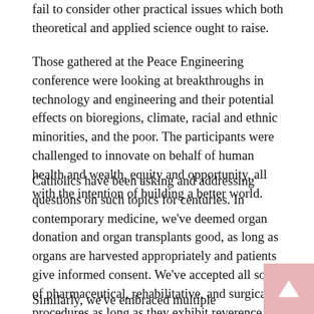fail to consider other practical issues which both theoretical and applied science ought to raise.
Those gathered at the Peace Engineering conference were looking at breakthroughs in technology and engineering and their potential effects on bioregions, climate, racial and ethnic minorities, and the poor. The participants were challenged to innovate on behalf of human health and wealth, equity and opportunity, all with the intention of building a better world.
Catholics have been asking and addressing questions on such topics for centuries. In contemporary medicine, we've deemed organ donation and organ transplants good, as long as organs are harvested appropriately and patients give informed consent. We've accepted all sorts of pharmaceutical, rehabilitative, and surgical procedures as long as they exhibit reverence for human life, womb to tomb, and offer positive benefit.
Similarly, we've embraced multiple enhancements to our work and home lives, thanks to advanced means of transportation,